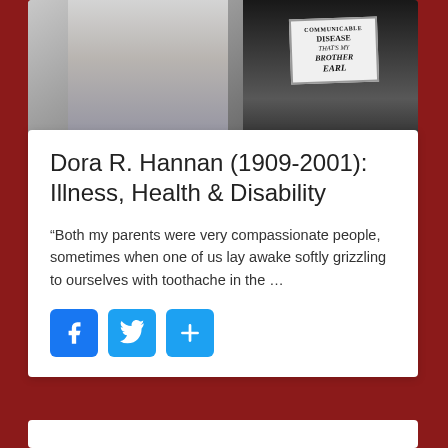[Figure (photo): Black and white photograph of a person holding a sign that reads 'COMMUNICABLE DISEASE THAT'S MY BROTHER EARL']
Dora R. Hannan (1909-2001): Illness, Health & Disability
“Both my parents were very compassionate people, sometimes when one of us lay awake softly grizzling to ourselves with toothache in the …
[Figure (infographic): Social sharing buttons: Facebook, Twitter, and a plus/share button]